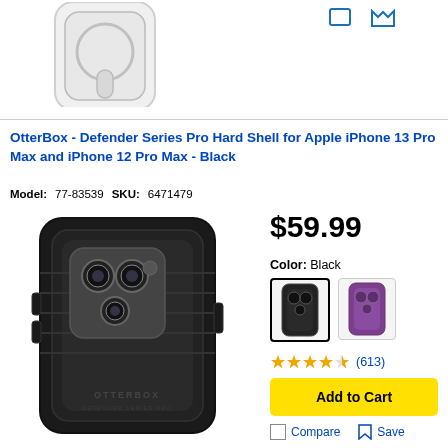[Figure (photo): Partial view of a white/clear iPhone case with MagSafe ring, cut off at top of page]
OtterBox - Defender Series Pro Hard Shell for Apple iPhone 13 Pro Max and iPhone 12 Pro Max - Black
Model: 77-83539  SKU: 6471479
[Figure (photo): OtterBox Defender Series Pro Hard Shell case in black for iPhone 13 Pro Max / 12 Pro Max, showing the ribbed texture and camera cutout]
$59.99
Color: Black
[Figure (photo): Two color swatches: selected Black case thumbnail and Purple case thumbnail]
★★★★½ (613)
Add to Cart
Compare  Save